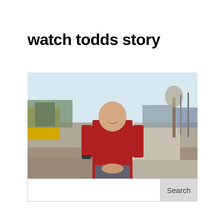watch todds story
[Figure (photo): A bald man in a red button-up shirt stands smiling with hands clasped in front of him on a brick-paved street or plaza. There is a road, trees, utility poles, and commercial buildings visible in the background. A 'Watch Todd's Story' overlay label with a circle-arrow icon appears in the lower right of the image.]
Search